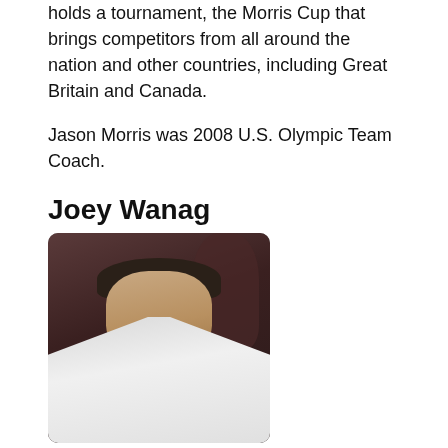holds a tournament, the Morris Cup that brings competitors from all around the nation and other countries, including Great Britain and Canada.

Jason Morris was 2008 U.S. Olympic Team Coach.
Joey Wanag
[Figure (photo): A young male judo athlete wearing a white judogi, looking forward, with a crowd visible in the dark background behind him.]